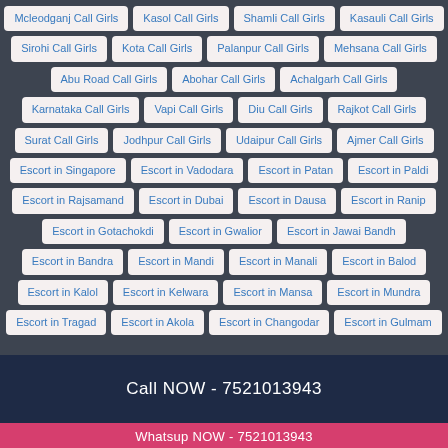Mcleodganj Call Girls
Kasol Call Girls
Shamli Call Girls
Kasauli Call Girls
Sirohi Call Girls
Kota Call Girls
Palanpur Call Girls
Mehsana Call Girls
Abu Road Call Girls
Abohar Call Girls
Achalgarh Call Girls
Karnataka Call Girls
Vapi Call Girls
Diu Call Girls
Rajkot Call Girls
Surat Call Girls
Jodhpur Call Girls
Udaipur Call Girls
Ajmer Call Girls
Escort in Singapore
Escort in Vadodara
Escort in Patan
Escort in Paldi
Escort in Rajsamand
Escort in Dubai
Escort in Dausa
Escort in Ranip
Escort in Gotachokdi
Escort in Gwalior
Escort in Jawai Bandh
Escort in Bandra
Escort in Mandi
Escort in Manali
Escort in Balod
Escort in Kalol
Escort in Kelwara
Escort in Mansa
Escort in Mundra
Escort in Tragad
Escort in Akola
Escort in Changodar
Escort in Gulmam
Call NOW - 7521013943
Whatsup NOW - 7521013943